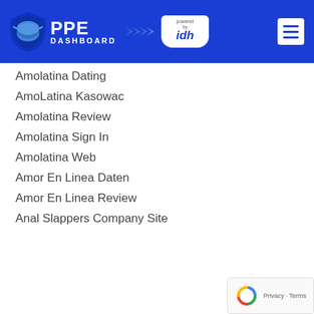PPE DASHBOARD powered by IDH
Amolatina Dating
AmoLatina Kasowac
Amolatina Review
Amolatina Sign In
Amolatina Web
Amor En Linea Daten
Amor En Linea Review
Anal Slappers Company Site